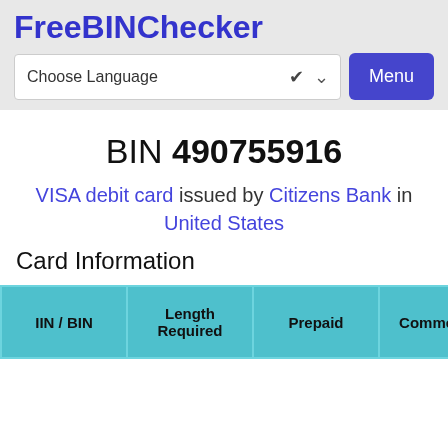FreeBINChecker
Choose Language (dropdown) Menu (button)
BIN 490755916
VISA debit card issued by Citizens Bank in United States
Card Information
| IIN / BIN | Length Required | Prepaid | Commercial |  |
| --- | --- | --- | --- | --- |